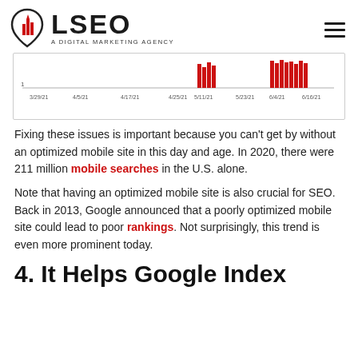LSEO — A DIGITAL MARKETING AGENCY
[Figure (bar-chart): Bar chart showing spikes in mobile search data across dates from 3/29/21 to 6/14/21, with two prominent red bar clusters around 5/11/21 and 6/4/21–6/14/21]
Fixing these issues is important because you can't get by without an optimized mobile site in this day and age. In 2020, there were 211 million mobile searches in the U.S. alone.
Note that having an optimized mobile site is also crucial for SEO. Back in 2013, Google announced that a poorly optimized mobile site could lead to poor rankings. Not surprisingly, this trend is even more prominent today.
4. It Helps Google Index Your Si...